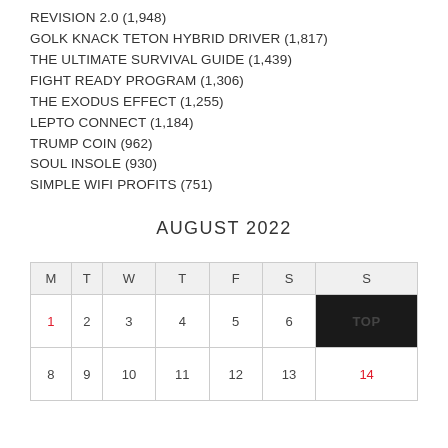REVISION 2.0 (1,948)
GOLK KNACK TETON HYBRID DRIVER (1,817)
THE ULTIMATE SURVIVAL GUIDE (1,439)
FIGHT READY PROGRAM (1,306)
THE EXODUS EFFECT (1,255)
LEPTO CONNECT (1,184)
TRUMP COIN (962)
SOUL INSOLE (930)
SIMPLE WIFI PROFITS (751)
AUGUST 2022
| M | T | W | T | F | S | S |
| --- | --- | --- | --- | --- | --- | --- |
| 1 | 2 | 3 | 4 | 5 | 6 | TOP |
| 8 | 9 | 10 | 11 | 12 | 13 | 14 |